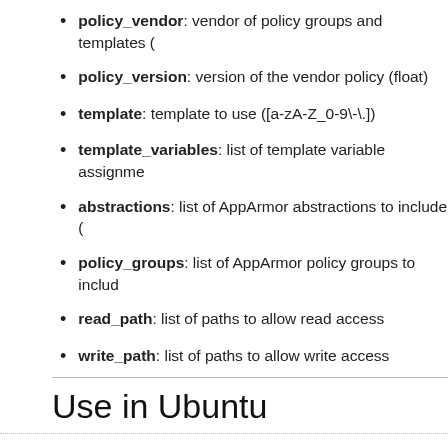policy_vendor: vendor of policy groups and templates (
policy_version: version of the vendor policy (float)
template: template to use ([a-zA-Z_0-9\-\.])
template_variables: list of template variable assignme
abstractions: list of AppArmor abstractions to include (
policy_groups: list of AppArmor policy groups to includ
read_path: list of paths to allow read access
write_path: list of paths to allow write access
Use in Ubuntu
Click
Click packages in Ubuntu are required to run under application section. When a click package is installed, a hook will be invoked profile. This hook will setup some aa-easyprof fields automatically handled automatically, some unused and some are technically